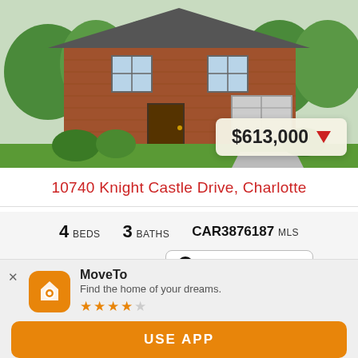[Figure (photo): Exterior photo of a brick house with green lawn and shrubs at 10740 Knight Castle Drive, Charlotte]
$613,000 ▼
10740 Knight Castle Drive, Charlotte
4 BEDS   3 BATHS   CAR3876187 MLS
ACTIVE STATUS   ▶ Request Virtual Tour
Courtesy of Mark Spain Real Estate
None
[Figure (logo): Partial house/realtor logo icon at bottom of listing]
MoveTo
Find the home of your dreams.
★★★★☆
USE APP